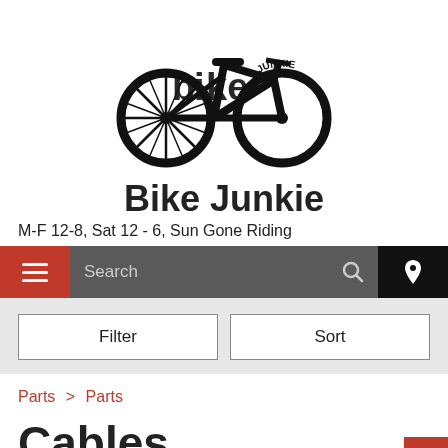[Figure (logo): Bike Junkie logo: stylized bicycle silhouette in black with spoke wheel detail and 'JUNKIE' text curved along the rear wheel]
Bike Junkie
M-F 12-8, Sat 12 - 6, Sun Gone Riding
Search (navigation bar with hamburger menu, search field, and location icon)
Filter   Sort
Parts > Parts
Cables